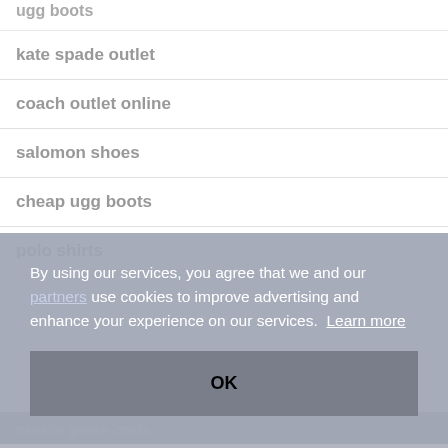ugg boots
kate spade outlet
coach outlet online
salomon shoes
cheap ugg boots
polo shirts
By using our services, you agree that we and our partners use cookies to improve advertising and enhance your experience on our services. Learn more
OK
canada goose coats